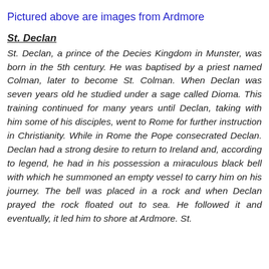Pictured above are images from Ardmore
St. Declan
St. Declan, a prince of the Decies Kingdom in Munster, was born in the 5th century. He was baptised by a priest named Colman, later to become St. Colman. When Declan was seven years old he studied under a sage called Dioma. This training continued for many years until Declan, taking with him some of his disciples, went to Rome for further instruction in Christianity. While in Rome the Pope consecrated Declan. Declan had a strong desire to return to Ireland and, according to legend, he had in his possession a miraculous black bell with which he summoned an empty vessel to carry him on his journey. The bell was placed in a rock and when Declan prayed the rock floated out to sea. He followed it and eventually, it led him to shore at Ardmore. St. Attract from There...